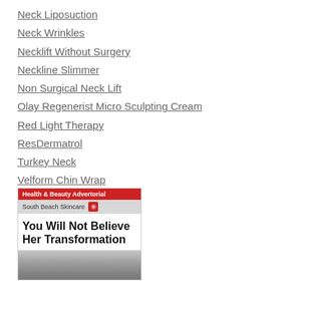Neck Liposuction
Neck Wrinkles
Necklift Without Surgery
Neckline Slimmer
Non Surgical Neck Lift
Olay Regenerist Micro Sculpting Cream
Red Light Therapy
ResDermatrol
Turkey Neck
Velform Chin Wrap
[Figure (screenshot): Health & Beauty Advertorial for South Beach Skincare with headline: You Will Not Believe Her Transformation, with a partial image of a person's hair visible at the bottom.]